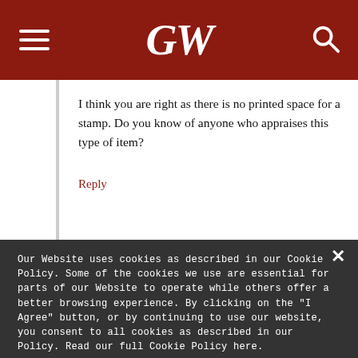GW
I think you are right as there is no printed space for a stamp. Do you know of anyone who appraises this type of item?
Reply
Our Website uses cookies as described in our Cookie Policy. Some of the cookies we use are essential for parts of our Website to operate while others offer a better browsing experience. By clicking on the "I Agree" button, or by continuing to use our website, you consent to all cookies as described in our Policy. Read our full Cookie Policy here.
SHOW DETAILS
I AGREE
I DECLINE
POWERED BY COOKIE-SCRIPT